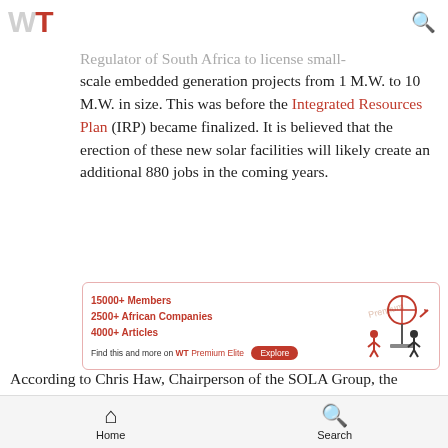WT [logo] [search icon]
Earlier in the year, the former Energy Minister, Jeff Fadebe gave the green light for the National Energy Regulator of South Africa to license small-scale embedded generation projects from 1 M.W. to 10 M.W. in size. This was before the Integrated Resources Plan (IRP) became finalized. It is believed that the erection of these new solar facilities will likely create an additional 880 jobs in the coming years.
[Figure (infographic): WT Premium Elite advertisement banner showing membership stats: 15000+ Members, 2500+ African Companies, 4000+ Articles, with an Explore button and illustration of people installing solar panels]
According to Chris Haw, Chairperson of the SOLA Group, the partnership unites a trio of highly experienced entities whose combined expertise offer consumer clean energy solutions at the time
Home  Search